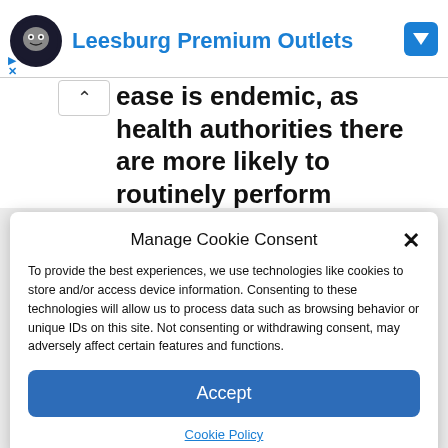[Figure (screenshot): Ad banner for Leesburg Premium Outlets with logo (dark circular icon with face/emoji), blue text title, and blue dropdown arrow icon in top right corner. Navigation icons (play triangle and X) on left side.]
ease is endemic, as health authorities there are more likely to routinely perform antibody tests compared to areas where it is less common, it said.
Manage Cookie Consent
To provide the best experiences, we use technologies like cookies to store and/or access device information. Consenting to these technologies will allow us to process data such as browsing behavior or unique IDs on this site. Not consenting or withdrawing consent, may adversely affect certain features and functions.
Accept
Cookie Policy